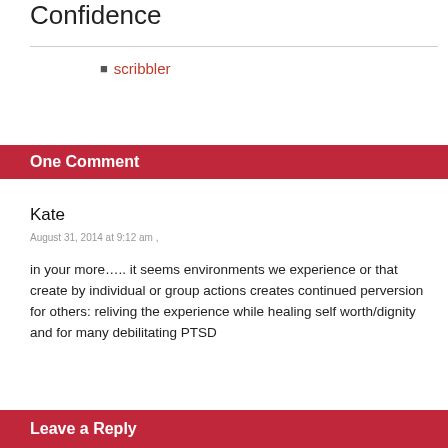Confidence
scribbler
One Comment
Kate
August 31, 2014 at 9:12 am ,
in your more….. it seems environments we experience or that create by individual or group actions creates continued perversion for others: reliving the experience while healing self worth/dignity and for many debilitating PTSD
Leave a Reply